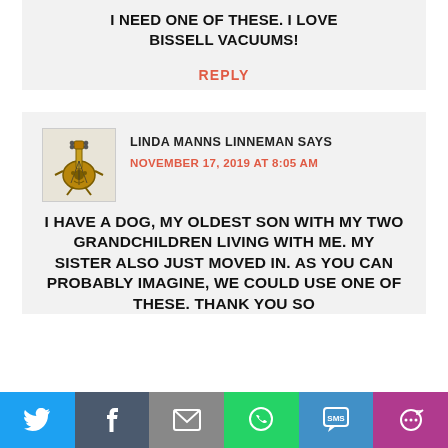I NEED ONE OF THESE. I LOVE BISSELL VACUUMS!
REPLY
LINDA MANNS LINNEMAN SAYS
NOVEMBER 17, 2019 AT 8:05 AM
I HAVE A DOG, MY OLDEST SON WITH MY TWO GRANDCHILDREN LIVING WITH ME. MY SISTER ALSO JUST MOVED IN. AS YOU CAN PROBABLY IMAGINE, WE COULD USE ONE OF THESE. THANK YOU SO
[Figure (other): Social sharing bar with Twitter, Facebook, Email, WhatsApp, SMS, and More buttons]